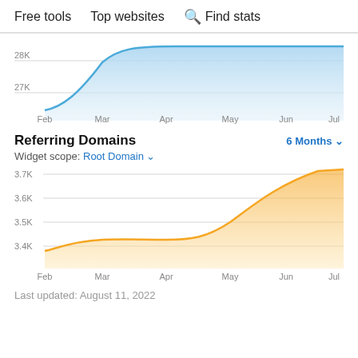Free tools   Top websites   🔍 Find stats
[Figure (area-chart): ]
Referring Domains
6 Months ▾
Widget scope: Root Domain ▾
[Figure (area-chart): Referring Domains]
Last updated: August 11, 2022